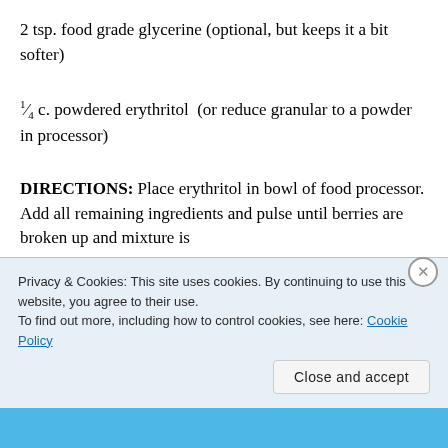2 tsp. food grade glycerine (optional, but keeps it a bit softer)
¼ c. powdered erythritol  (or reduce granular to a powder in processor)
DIRECTIONS:  Place erythritol in bowl of food processor.  Add all remaining ingredients and pulse until berries are broken up and mixture is
Privacy & Cookies: This site uses cookies. By continuing to use this website, you agree to their use.
To find out more, including how to control cookies, see here: Cookie Policy
Close and accept